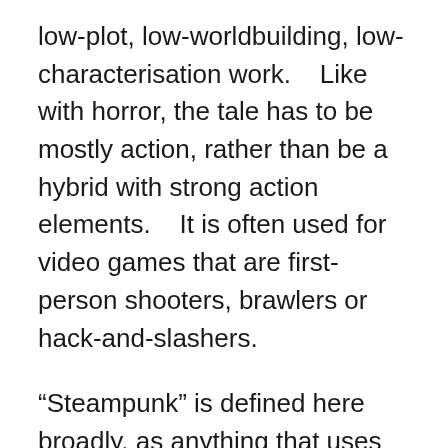low-plot, low-worldbuilding, low-characterisation work.    Like with horror, the tale has to be mostly action, rather than be a hybrid with strong action elements.    It is often used for video games that are first-person shooters, brawlers or hack-and-slashers.
“Steampunk” is defined here broadly, as anything that uses XIXᵗʰ century aesthetics.    And particularly steam-powered mechanical engineering, coal-based heavy industry, Victorian